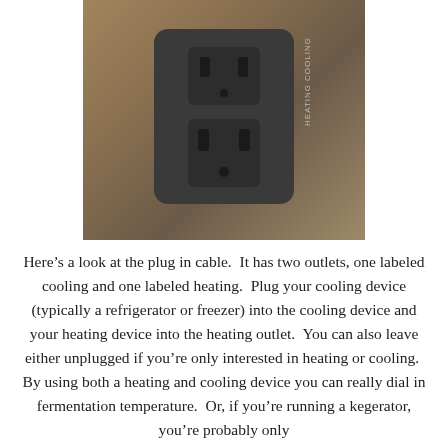[Figure (photo): A photograph of a dual-outlet plug-in cable with two electrical outlets, one labeled COOLING (top) and one labeled HEATING (bottom), shown against a brown/wooden background.]
Here's a look at the plug in cable.  It has two outlets, one labeled cooling and one labeled heating.  Plug your cooling device (typically a refrigerator or freezer) into the cooling device and your heating device into the heating outlet.  You can also leave either unplugged if you're only interested in heating or cooling.  By using both a heating and cooling device you can really dial in fermentation temperature.  Or, if you're running a kegerator, you're probably only